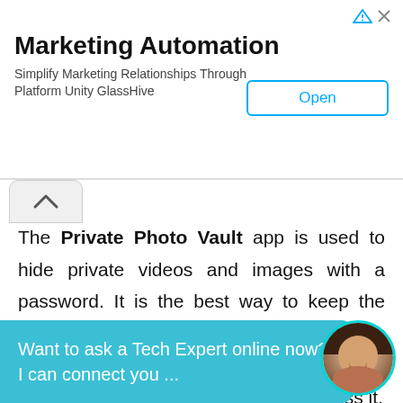[Figure (screenshot): Advertisement banner for Marketing Automation - GlassHive platform with Open button]
Marketing Automation
Simplify Marketing Relationships Through Platform Unity GlassHive
The Private Photo Vault app is used to hide private videos and images with a password. It is the best way to keep the images and videos safe from others. You can use directly take pictures by using Photo Vault app and only you can access it.
If anyone tries to break the password of Photo Vault app then the app will take a picture of that
Want to ask a Tech Expert online now? I can connect you ...